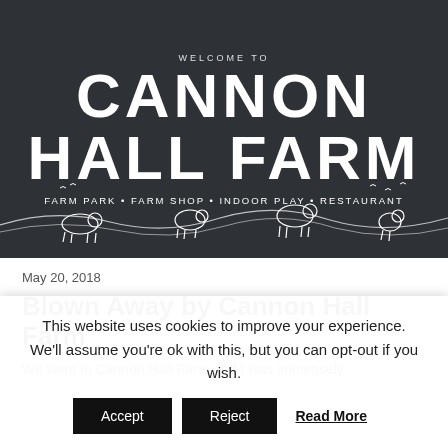[Figure (photo): Dark sign for Cannon Hall Farm showing the text 'Welcome to Cannon Hall Farm - Farm Park · Farm Shop · Indoor Play · Restaurant' with white illustrated farm animals (pig, sheep, cow, chicken) on rolling hills at the bottom]
May 20, 2018
Blown Away by Cannon Hall Farm
We went to Cannon Hall Farm and I was immensely
This website uses cookies to improve your experience. We'll assume you're ok with this, but you can opt-out if you wish.